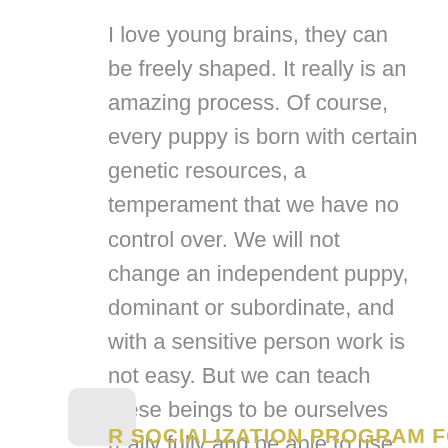I love young brains, they can be freely shaped. It really is an amazing process. Of course, every puppy is born with certain genetic resources, a temperament that we have no control over. We will not change an independent puppy, dominant or subordinate, and with a sensitive person work is not easy. But we can teach these beings to be ourselves really fully and be able to use these wonderful resources.
R SOCIALIZATION PROGRAM FOR